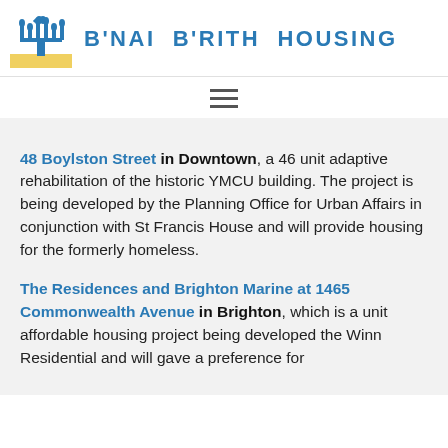[Figure (logo): B'nai B'rith Housing logo with menorah and yellow platform graphic, followed by organization name text]
48 Boylston Street in Downtown, a 46 unit adaptive rehabilitation of the historic YMCU building. The project is being developed by the Planning Office for Urban Affairs in conjunction with St Francis House and will provide housing for the formerly homeless.
The Residences and Brighton Marine at 1465 Commonwealth Avenue in Brighton, which is a unit affordable housing project being developed the Winn Residential and will gave a preference for